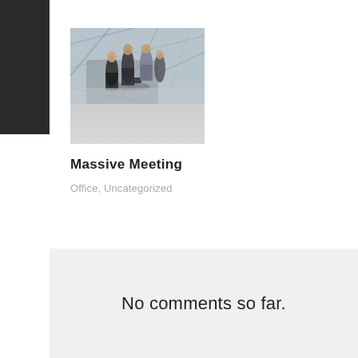[Figure (photo): Aerial view of business people having a meeting/conversation in an office lobby or atrium, viewed from above. Three or four people in business attire standing together.]
Massive Meeting
Office, Uncategorized
No comments so far.